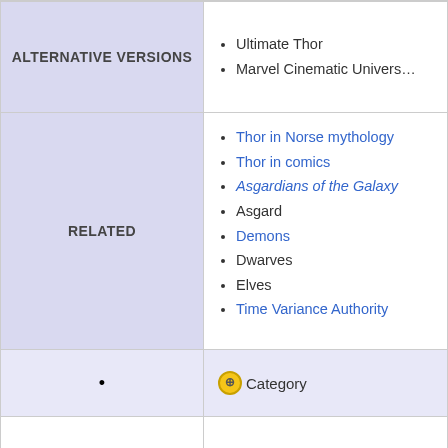| Section | Content |
| --- | --- |
| ALTERNATIVE VERSIONS | Ultimate Thor; Marvel Cinematic Universe |
| RELATED | Thor in Norse mythology; Thor in comics; Asgardians of the Galaxy; Asgard; Demons; Dwarves; Elves; Time Variance Authority |
| (bullet) | (icon) Category |
|  |  |
| V (list) | MARVEL CINEMATIC UNIVERSE |